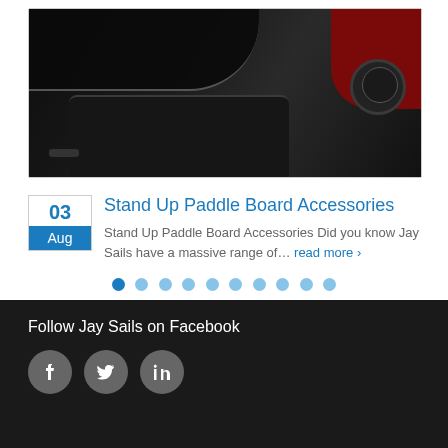[Figure (photo): Close-up photo of a black and red motorcycle/sports helmet with visor, shown from below/side angle on white background]
Stand Up Paddle Board Accessories
Stand Up Paddle Board Accessories Did you know Jay Sails have a massive range of… read more ›
[Figure (other): Pagination dots: 10 dots, first one active (dark blue), rest light blue]
Follow Jay Sails on Facebook
[Figure (other): Social media icons: Facebook, Twitter, LinkedIn — grey circular buttons]